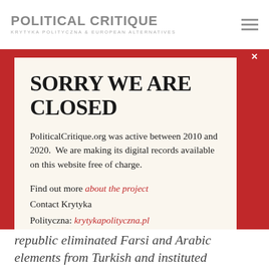POLITICAL CRITIQUE — KRYTYKA POLITYCZNA & EUROPEAN ALTERNATIVES
[Figure (screenshot): Website popup modal with red border background and cream interior. Title reads 'SORRY WE ARE CLOSED'. Body text explains PoliticalCritique.org was active between 2010 and 2020 and records are available free of charge. Links to 'about the project' and 'krytykapolityczna.pl'.]
republic eliminated Farsi and Arabic elements from Turkish and instituted